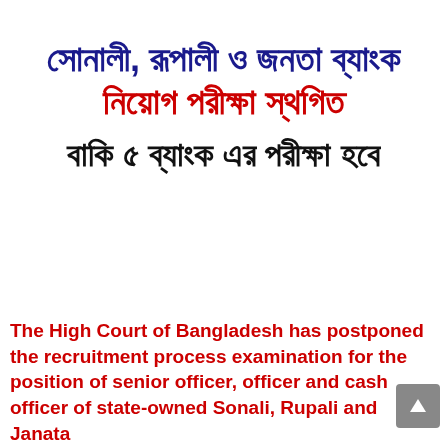সোনালী, রূপালী ও জনতা ব্যাংক নিয়োগ পরীক্ষা স্থগিত বাকি ৫ ব্যাংক এর পরীক্ষা হবে
The High Court of Bangladesh has postponed the recruitment process examination for the position of senior officer, officer and cash officer of state-owned Sonali, Rupali and Janata